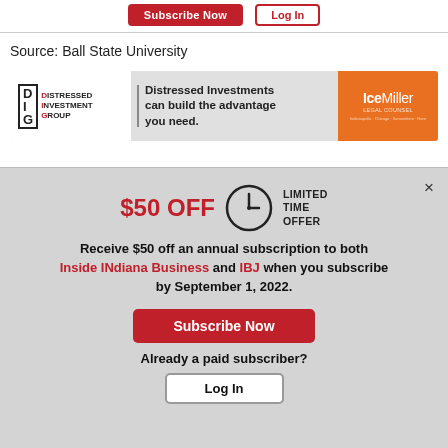Subscribe Now | Log In
Source: Ball State University
[Figure (illustration): Distressed Investment Group ad banner. Left side: DIG logo with icon. Middle gray section: 'Distressed Investments can build the advantage you need.' Right orange section: IceMiller legal counsel logo with small tagline text.]
$50 OFF LIMITED TIME OFFER
Receive $50 off an annual subscription to both Inside INdiana Business and IBJ when you subscribe by September 1, 2022.
Subscribe Now
Already a paid subscriber?
Log In